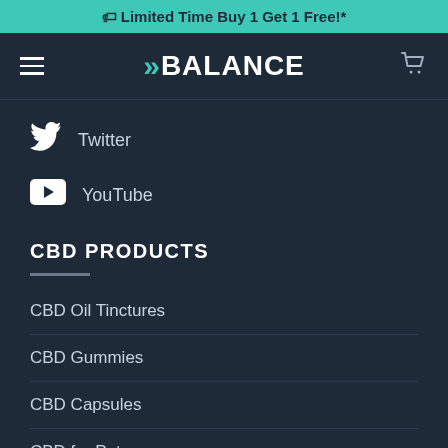🏷 Limited Time Buy 1 Get 1 Free!*
BALANCE
Twitter
YouTube
CBD PRODUCTS
CBD Oil Tinctures
CBD Gummies
CBD Capsules
CBD for Pets
CBD Topicals